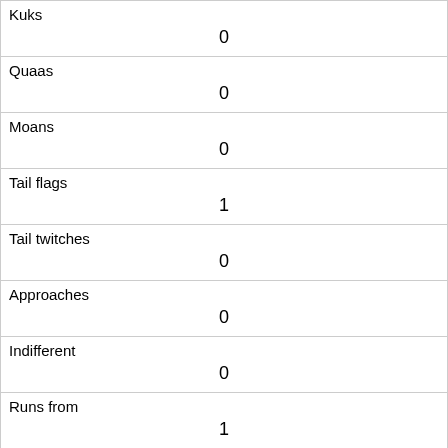| Kuks | 0 |
| Quaas | 0 |
| Moans | 0 |
| Tail flags | 1 |
| Tail twitches | 0 |
| Approaches | 0 |
| Indifferent | 0 |
| Runs from | 1 |
| Other Interactions |  |
| Lat/Long | POINT (-73.9787180870736 40.7715877863274) |